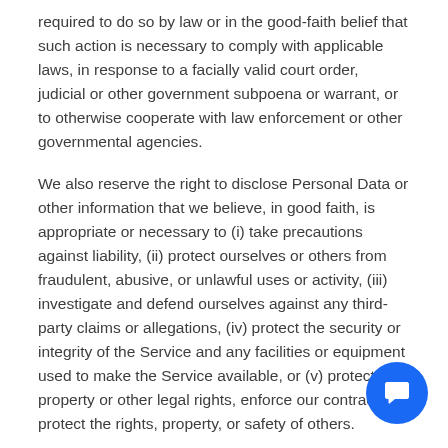required to do so by law or in the good-faith belief that such action is necessary to comply with applicable laws, in response to a facially valid court order, judicial or other government subpoena or warrant, or to otherwise cooperate with law enforcement or other governmental agencies.
We also reserve the right to disclose Personal Data or other information that we believe, in good faith, is appropriate or necessary to (i) take precautions against liability, (ii) protect ourselves or others from fraudulent, abusive, or unlawful uses or activity, (iii) investigate and defend ourselves against any third-party claims or allegations, (iv) protect the security or integrity of the Service and any facilities or equipment used to make the Service available, or (v) protect our property or other legal rights, enforce our contracts, or protect the rights, property, or safety of others.